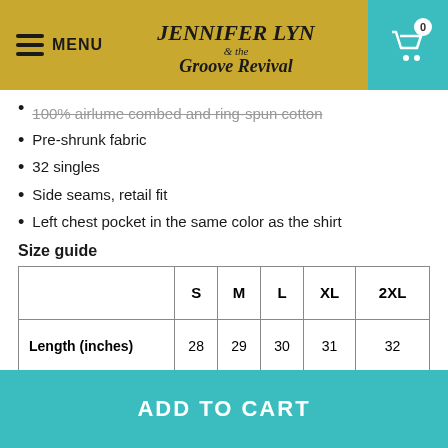MENU | Jennifer Lyn & the Groove Revival | Cart 0
100% airlume combed and ring-spun cotton
Pre-shrunk fabric
32 singles
Side seams, retail fit
Left chest pocket in the same color as the shirt
Size guide
|  | S | M | L | XL | 2XL |
| --- | --- | --- | --- | --- | --- |
| Length (inches) | 28 | 29 | 30 | 31 | 32 |
| Width (inches) | 18 | 20 | 22 | 24 | 26 |
ADD TO CART